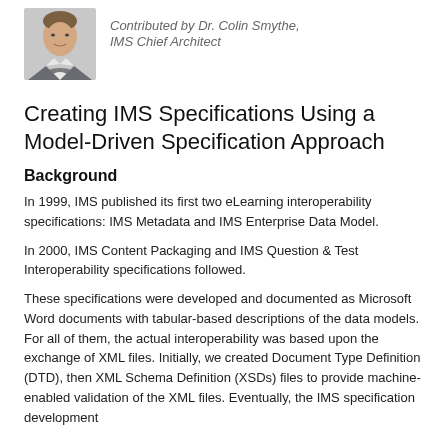[Figure (photo): Headshot photo of Dr. Colin Smythe, a man in a suit]
Contributed by Dr. Colin Smythe, IMS Chief Architect
Creating IMS Specifications Using a Model-Driven Specification Approach
Background
In 1999, IMS published its first two eLearning interoperability specifications: IMS Metadata and IMS Enterprise Data Model.
In 2000, IMS Content Packaging and IMS Question & Test Interoperability specifications followed.
These specifications were developed and documented as Microsoft Word documents with tabular-based descriptions of the data models. For all of them, the actual interoperability was based upon the exchange of XML files. Initially, we created Document Type Definition (DTD), then XML Schema Definition (XSDs) files to provide machine-enabled validation of the XML files. Eventually, the IMS specification development